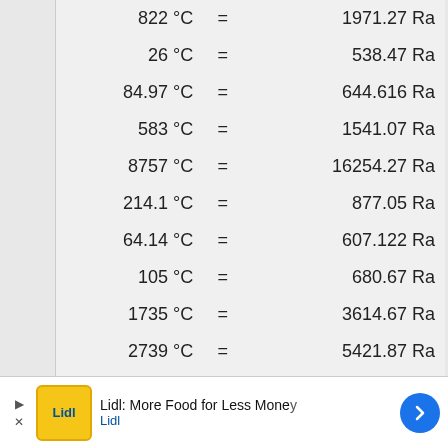| Celsius | = | Rankine |
| --- | --- | --- |
| 822 °C | = | 1971.27 Ra |
| 26 °C | = | 538.47 Ra |
| 84.97 °C | = | 644.616 Ra |
| 583 °C | = | 1541.07 Ra |
| 8757 °C | = | 16254.27 Ra |
| 214.1 °C | = | 877.05 Ra |
| 64.14 °C | = | 607.122 Ra |
| 105 °C | = | 680.67 Ra |
| 1735 °C | = | 3614.67 Ra |
| 2739 °C | = | 5421.87 Ra |
| 15500 °C | = | 28391.67 Ra |
| 1966 °C | = | 4030.47 Ra |
| 1424 °C | = | 3054.87 Ra |
| 25.0 °C | = | 556.20 Ra |
[Figure (screenshot): Lidl advertisement banner: 'Lidl: More Food for Less Money' with Lidl logo and blue arrow navigation button]